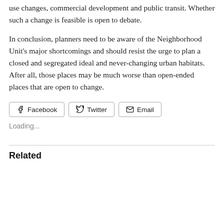use changes, commercial development and public transit. Whether such a change is feasible is open to debate.
In conclusion, planners need to be aware of the Neighborhood Unit's major shortcomings and should resist the urge to plan a closed and segregated ideal and never-changing urban habitats. After all, those places may be much worse than open-ended places that are open to change.
[Figure (other): Social share buttons: Facebook, Twitter, Email]
Loading...
Related